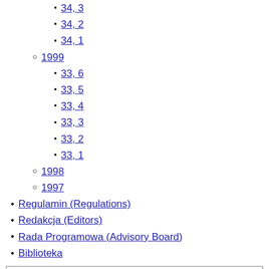34, 3
34, 2
34, 1
1999
33, 6
33, 5
33, 4
33, 3
33, 2
33, 1
1998
1997
Regulamin (Regulations)
Redakcja (Editors)
Rada Programowa (Advisory Board)
Biblioteka
1101_1112
Psychiatr. Pol. 2015; 49(5): 1101–1112